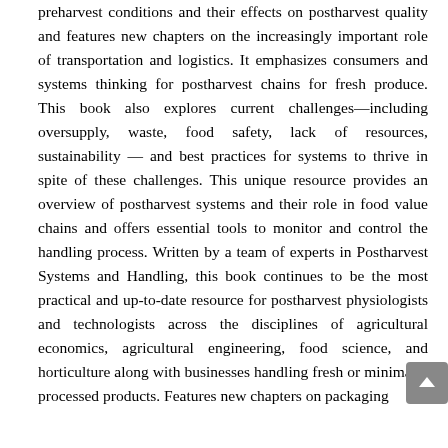preharvest conditions and their effects on postharvest quality and features new chapters on the increasingly important role of transportation and logistics. It emphasizes consumers and systems thinking for postharvest chains for fresh produce. This book also explores current challenges—including oversupply, waste, food safety, lack of resources, sustainability — and best practices for systems to thrive in spite of these challenges. This unique resource provides an overview of postharvest systems and their role in food value chains and offers essential tools to monitor and control the handling process. Written by a team of experts in Postharvest Systems and Handling, this book continues to be the most practical and up-to-date resource for postharvest physiologists and technologists across the disciplines of agricultural economics, agricultural engineering, food science, and horticulture along with businesses handling fresh or minimally processed products. Features new chapters on packaging